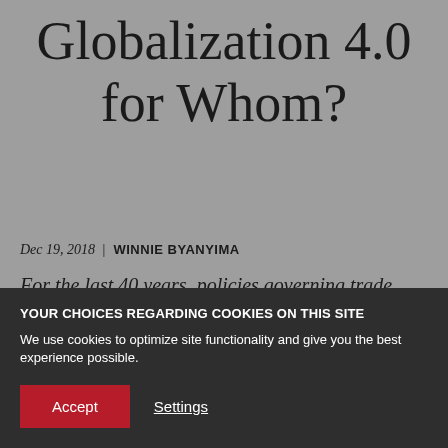Globalization 4.0 for Whom?
Dec 19, 2018 | WINNIE BYANYIMA
For the last 40 years, policies governing trade, capital flows, and taxation have adhered to a
YOUR CHOICES REGARDING COOKIES ON THIS SITE
We use cookies to optimize site functionality and give you the best experience possible.